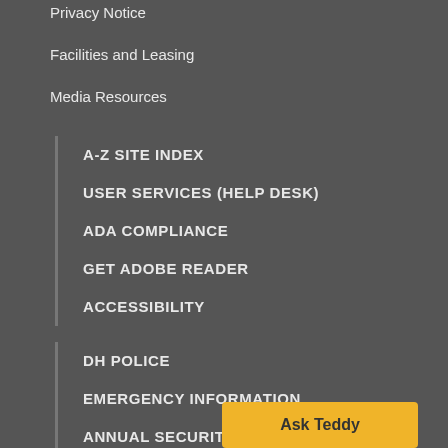Privacy Notice
Facilities and Leasing
Media Resources
A-Z SITE INDEX
USER SERVICES (HELP DESK)
ADA COMPLIANCE
GET ADOBE READER
ACCESSIBILITY
DH POLICE
EMERGENCY INFORMATION
ANNUAL SECURITY REPORT [PDF]
TITLE IX
[Figure (other): Ask Teddy button - yellow button with text 'Ask Teddy']